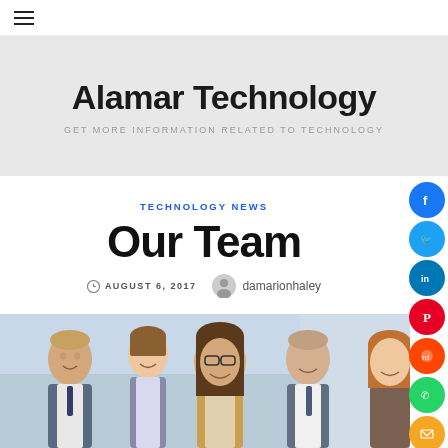≡
Alamar Technology
GET MORE INFORMATION RELATED TO TECHNOLOGY
TECHNOLOGY NEWS
Our Team
AUGUST 6, 2017  damarionhaley
[Figure (photo): Group photo of five business professionals smiling, two men and three women in business attire]